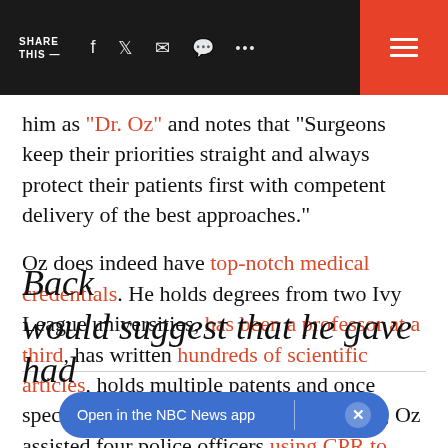SHARE THIS — [social icons] [menu]
him as “Dr. Oz” and notes that “Surgeons keep their priorities straight and always protect their patients first with competent delivery of the best approaches.”
Oz does indeed have top-notch medical credentials. He holds degrees from two Ivy League universities, has been a professor at a third, has written hundreds of scientific articles, holds multiple patents and once specialized in heart transplants. Last year, Oz assisted four police officers using CPR to save a man’s life at Newark Liberty International Airport.
Back… would suggest that he gave had